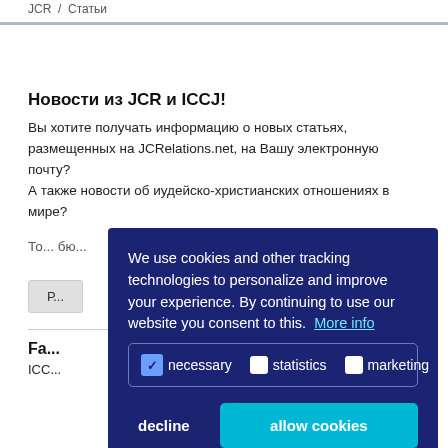JCR / Статьи
Новости из JCR и ICCJ!
Вы хотите получать информацию о новых статьях, размещенных на JCRelations.net, на Вашу электронную почту? А также новости об иудейско-христианских отношениях в мире?
То... бю...
Р...
Fa...
ICC...
We use cookies and other tracking technologies to personalize and improve your experience. By continuing to use our website you consent to this. More info
necessary  statistics  marketing
decline  allow cookies